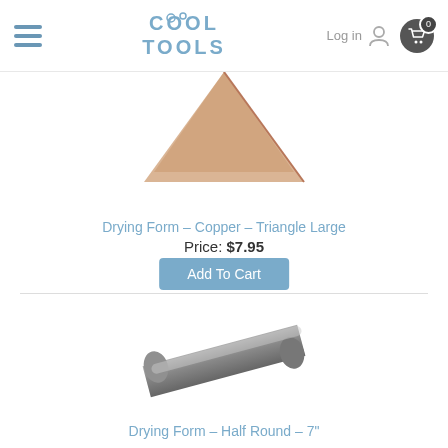Cool Tools - Log in - Cart 0
[Figure (photo): Partial image of a copper triangle large drying form against white background]
Drying Form – Copper – Triangle Large
Price: $7.95
Add To Cart
[Figure (photo): Gray half-round drying form tool, elongated rod with flat bottom and rounded top]
Drying Form – Half Round – 7"